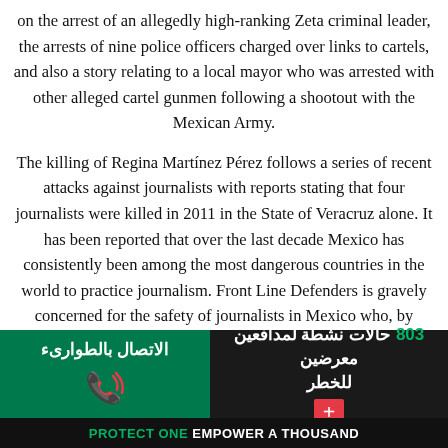on the arrest of an allegedly high-ranking Zeta criminal leader, the arrests of nine police officers charged over links to cartels, and also a story relating to a local mayor who was arrested with other alleged cartel gunmen following a shootout with the Mexican Army.
The killing of Regina Martínez Pérez follows a series of recent attacks against journalists with reports stating that four journalists were killed in 2011 in the State of Veracruz alone. It has been reported that over the last decade Mexico has consistently been among the most dangerous countries in the world to practice journalism. Front Line Defenders is gravely concerned for the safety of journalists in Mexico who, by carrying out their work in the promotion of human
الاتصال بالطوارىء
803 حالات نشطة لمدافعين معرضين للخطر
PROTECT ONE EMPOWER A THOUSAND